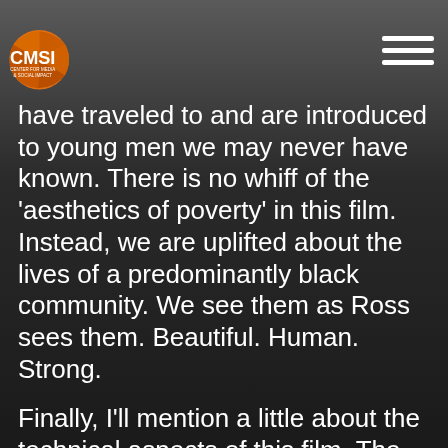CMSI CENTER FOR MEDIA & SOCIAL IMPACT
names of folks, we go to a place we may never have traveled to and are introduced to young men we may never have known. There is no whiff of the 'aesthetics of poverty' in this film. Instead, we are uplifted about the lives of a predominantly black community. We see them as Ross sees them. Beautiful. Human. Strong.
Finally, I'll mention a little about the technical aspects of this film. The film was shot on a 5D Mark III Canon. You may recall, I mentioned this film was shot over five years. RaMell started editing the film about six months after he started filming both Quincy and Daniel. He also used time-lapse